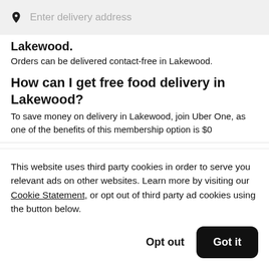[Figure (screenshot): Search bar with location pin icon and placeholder text 'Enter delivery address' on a light gray background]
Lakewood.
Orders can be delivered contact-free in Lakewood.
How can I get free food delivery in Lakewood?
To save money on delivery in Lakewood, join Uber One, as one of the benefits of this membership option is $0
This website uses third party cookies in order to serve you relevant ads on other websites. Learn more by visiting our Cookie Statement, or opt out of third party ad cookies using the button below.